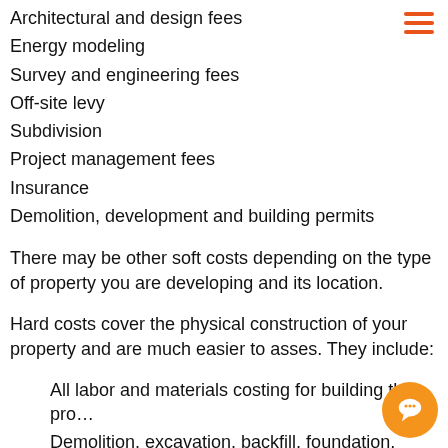Architectural and design fees
Energy modeling
Survey and engineering fees
Off-site levy
Subdivision
Project management fees
Insurance
Demolition, development and building permits
There may be other soft costs depending on the type of property you are developing and its location.
Hard costs cover the physical construction of your property and are much easier to asses. They include:
All labor and materials costing for building the pro…
Demolition, excavation, backfill, foundation, frami… roofing, etc